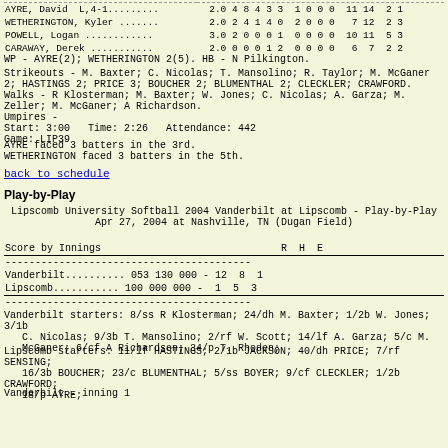| Player | IP | H | R | ER | BB | SO | WP | HBP | BK | AB | BF | FO | GO |
| --- | --- | --- | --- | --- | --- | --- | --- | --- | --- | --- | --- | --- | --- |
| AYRE, David  L,4-1......... | 2.0 | 4 | 8 | 4 | 3 | 3 | 1 | 0 | 0 | 0 | 11 | 14 | 2 | 1 |
| WETHERINGTON, Kyler ....... | 2.0 | 2 | 4 | 1 | 4 | 0 | 2 | 0 | 0 | 0 | 7 | 12 | 2 | 3 |
| POWELL, Logan .......... | 3.0 | 2 | 0 | 0 | 0 | 1 | 0 | 0 | 0 | 0 | 10 | 11 | 5 | 3 |
| CARAWAY, Derek .......... | 2.0 | 0 | 0 | 0 | 1 | 2 | 0 | 0 | 0 | 0 | 6 | 7 | 2 | 2 |
WP - AYRE(2); WETHERINGTON 2(5). HB - N Pilkington.
Strikeouts - M. Baxter; C. Nicolas; T. Mansolino; R. Taylor; M. McGaner 2; HASTINGS 2; PRICE 3; BOUCHER 2; BLUMENTHAL 2; CLECKLER; CRAWFORD. Walks - R Klosterman; M. Baxter; W. Jones; C. Nicolas; A. Garza; M. Zeller; M. McGaner; A Richardson.
Umpires -
Start: 3:00   Time: 2:26   Attendance: 442
Game: LIP39
AYRE faced 3 batters in the 3rd.
WETHERINGTON faced 3 batters in the 5th.
back to schedule
Play-by-Play
Lipscomb University Softball 2004
Vanderbilt at Lipscomb - Play-by-Play
Apr 27, 2004 at Nashville, TN (Dugan Field)
| Score by Innings | R | H | E |
| --- | --- | --- | --- |
| Vanderbilt......... | 053 130 000 - | 12 | 8 | 1 |
| Lipscomb........... | 100 000 000 - | 1 | 5 | 3 |
Vanderbilt starters: 8/ss R Klosterman; 24/dh M. Baxter; 1/2b W. Jones; 3/1b C. Nicolas; 9/3b T. Mansolino; 2/rf W. Scott; 14/lf A. Garza; 5/c M. McGaner; 6/cf A Richardson; 34/p T. Rhoden;
Lipscomb starters: 11/lf HASTINGS; 2/1b JACKSON; 40/dh PRICE; 7/rf SENSING; 16/3b BOUCHER; 23/c BLUMENTHAL; 5/ss BOYER; 9/cf CLECKLER; 1/2b CRAWFORD; 18/p AYRE;
Vanderbilt - inning 1